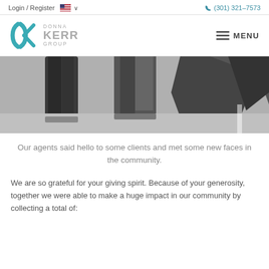Login / Register   🇺🇸 ∨   (301) 321-7573
[Figure (logo): Donna Kerr Group logo with teal K and text DONNA KERR GROUP]
[Figure (photo): Black and white photo of people walking, showing legs and shopping bags]
Our agents said hello to some clients and met some new faces in the community.
We are so grateful for your giving spirit. Because of your generosity, together we were able to make a huge impact in our community by collecting a total of: